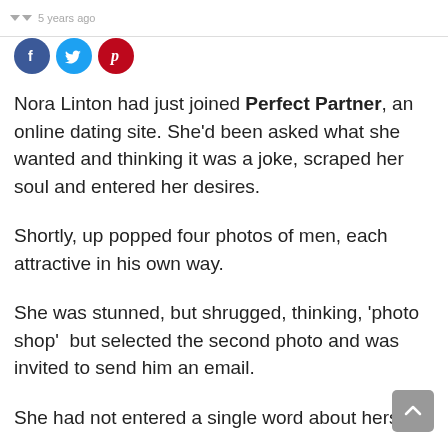5 years ago
[Figure (other): Social sharing icons: Facebook (blue circle with f), Twitter (light blue circle with bird), Pinterest (red circle with p)]
Nora Linton had just joined Perfect Partner, an online dating site. She'd been asked what she wanted and thinking it was a joke, scraped her soul and entered her desires.
Shortly, up popped four photos of men, each attractive in his own way.
She was stunned, but shrugged, thinking, 'photo shop'  but selected the second photo and was invited to send him an email.
She had not entered a single word about herself,